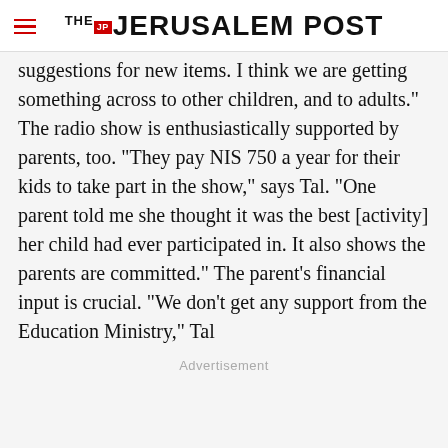THE JERUSALEM POST
suggestions for new items. I think we are getting something across to other children, and to adults." The radio show is enthusiastically supported by parents, too. "They pay NIS 750 a year for their kids to take part in the show," says Tal. "One parent told me she thought it was the best [activity] her child had ever participated in. It also shows the parents are committed." The parent's financial input is crucial. "We don't get any support from the Education Ministry," Tal
Advertisement